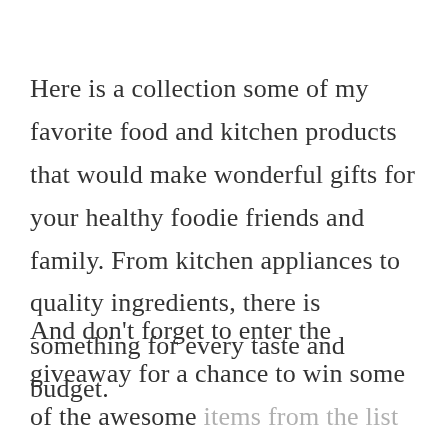Here is a collection some of my favorite food and kitchen products that would make wonderful gifts for your healthy foodie friends and family. From kitchen appliances to quality ingredients, there is something for every taste and budget.
And don't forget to enter the giveaway for a chance to win some of the awesome items from the list yourself